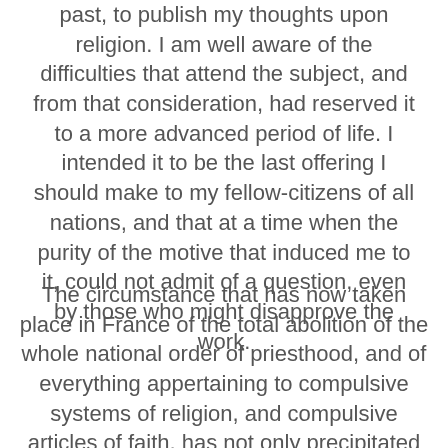past, to publish my thoughts upon religion. I am well aware of the difficulties that attend the subject, and from that consideration, had reserved it to a more advanced period of life. I intended it to be the last offering I should make to my fellow-citizens of all nations, and that at a time when the purity of the motive that induced me to it, could not admit of a question, even by those who might disapprove the work.
The circumstance that has now taken place in France of the total abolition of the whole national order of priesthood, and of everything appertaining to compulsive systems of religion, and compulsive articles of faith, has not only precipitated my intention, but rendered a work of this kind exceedingly